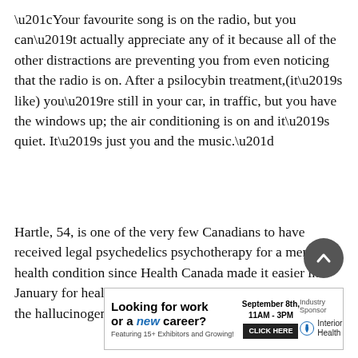“Your favourite song is on the radio, but you can’t actually appreciate any of it because all of the other distractions are preventing you from even noticing that the radio is on. After a psilocybin treatment,(it’s like) you’re still in your car, in traffic, but you have the windows up; the air conditioning is on and it’s quiet. It’s just you and the music.”
Hartle, 54, is one of the very few Canadians to have received legal psychedelics psychotherapy for a mental health condition since Health Canada made it easier in January for health-care workers to access psilocybin — the hallucinogenic compound found in some mushrooms.
[Figure (other): Advertisement: Looking for work or a new career? Featuring 15+ Exhibitors and Growing! September 8th, 11AM–3PM, CLICK HERE. Industry Sponsor: Interior Health logo.]